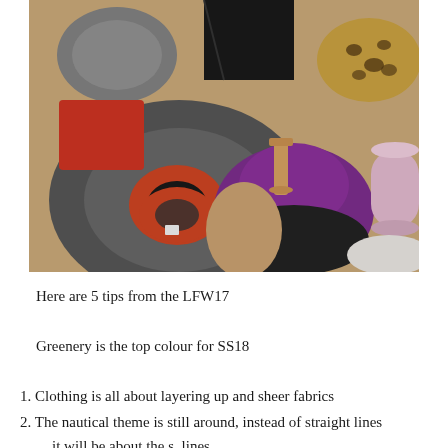[Figure (photo): A collection of hat blocks and hat forms on a wooden surface, including a large dark grey donut-shaped brim block, a bright purple suede hat, an orange fabric, a tan head-shaped block, a black hat form, a leopard print hat, a grey dome, and a pink cylinder, with a wooden spool in the center.]
Here are 5 tips from the LFW17
Greenery is the top colour for SS18
1. Clothing is all about layering up and sheer fabrics
2. The nautical theme is still around, instead of straight lines it will be about the s_lines